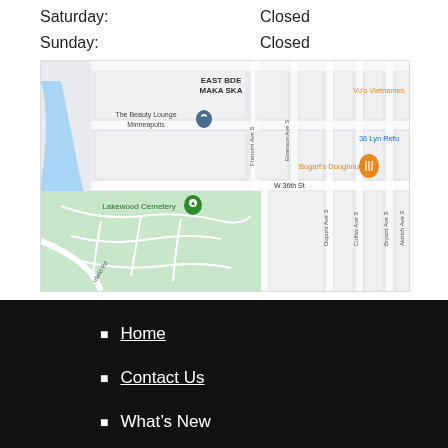Saturday:   Closed
Sunday:   Closed
[Figure (map): Google Maps screenshot showing area near Lakewood Cemetery in Minneapolis, MN. Visible landmarks include The Beauty Lounge Minneapolis, Vo's Vietnamese, 36 Lyn Refu, Bogart's Doughnut Co, and Lakewood Cemetery. Streets visible include W 36th St, Fremont Ave S, Emerson Ave S, Dupont Ave S, Colfax Ave S, Bryant Ave S, Aldrich Ave S, and nfield Rd.]
Home
Contact Us
What's New